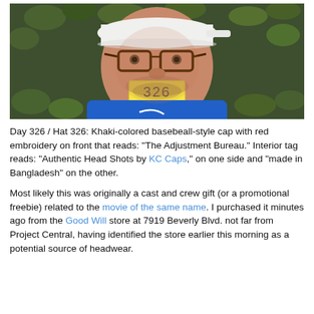[Figure (photo): A selfie of a middle-aged man with a white baseball cap, brown-rimmed glasses, and a blue Nike shirt. He is holding a yellow sticky note in his mouth with '326' written on it. Background is green ivy.]
Day 326 / Hat 326: Khaki-colored basebeall-style cap with red embroidery on front that reads: "The Adjustment Bureau." Interior tag reads: "Authentic Head Shots by KC Caps," on one side and "made in Bangladesh" on the other.

Most likely this was originally a cast and crew gift (or a promotional freebie) related to the movie of the same name. I purchased it minutes ago from the Good Will store at 7919 Beverly Blvd. not far from Project Central, having identified the store earlier this morning as a potential source of headwear.